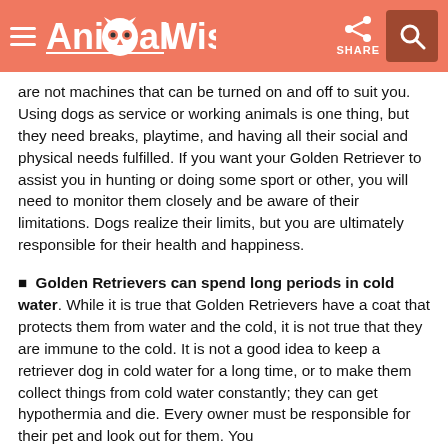AnimalWised | SHARE
are not machines that can be turned on and off to suit you. Using dogs as service or working animals is one thing, but they need breaks, playtime, and having all their social and physical needs fulfilled. If you want your Golden Retriever to assist you in hunting or doing some sport or other, you will need to monitor them closely and be aware of their limitations. Dogs realize their limits, but you are ultimately responsible for their health and happiness.
Golden Retrievers can spend long periods in cold water. While it is true that Golden Retrievers have a coat that protects them from water and the cold, it is not true that they are immune to the cold. It is not a good idea to keep a retriever dog in cold water for a long time, or to make them collect things from cold water constantly; they can get hypothermia and die. Every owner must be responsible for their pet and look out for them. You